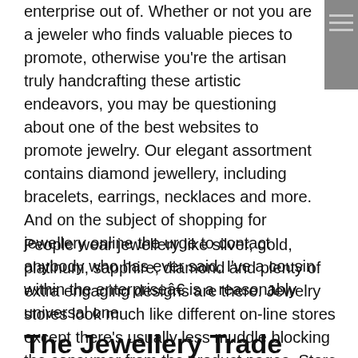enterprise out of. Whether or not you are a jeweler who finds valuable pieces to promote, otherwise you're the artisan truly handcrafting these artistic endeavors, you may be questioning about one of the best websites to promote jewelry. Our elegant assortment contains diamond jewellery, including bracelets, earrings, necklaces and more. And on the subject of shopping for jewellery online the urge to contact anybody who has ever said, I've a cousin within the enterprise… is a reasonably universal one.
People wear jewellery like silver, gold, platinum, sapphire, diamond and plenty of extra engaging designs are there. Jewelry stores look much like different on-line stores except there's usually less muddle blocking the consumer from the product pages. Store for marriage ceremony jewelry, precious stone studded jewelry, beautiful diamond jewelry and more!.
The Jewellery Trade Authority